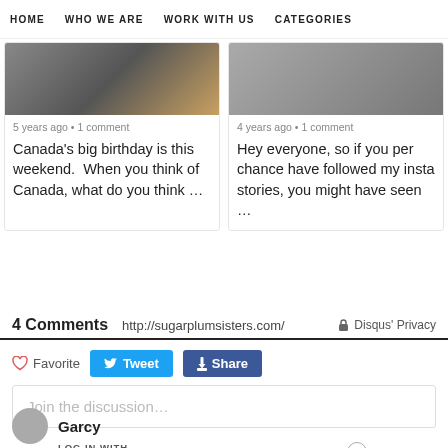HOME   WHO WE ARE   WORK WITH US   CATEGORIES
5 years ago • 1 comment
Canada's big birthday is this weekend.  When you think of Canada, what do you think …
4 years ago • 1 comment
Hey everyone, so if you per chance have followed my insta stories, you might have seen …
4 Comments    http://sugarplumsisters.com/    🔒 Disqus' Privacy
♡ Favorite   Tweet   f Share
Join the discussion…
LOG IN WITH
OR SIGN UP WITH DISQUS ?
Name
Garcy